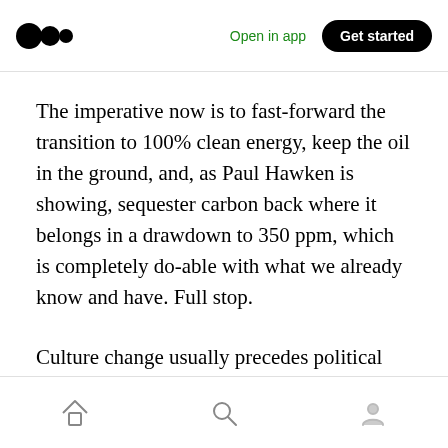Open in app | Get started
The imperative now is to fast-forward the transition to 100% clean energy, keep the oil in the ground, and, as Paul Hawken is showing, sequester carbon back where it belongs in a drawdown to 350 ppm, which is completely do-able with what we already know and have. Full stop.
Culture change usually precedes political change, and we’re also on the front lines of cultural revolution.
Home | Search | Profile